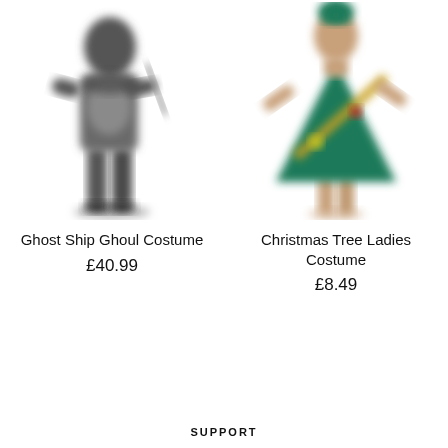[Figure (photo): Blurred photo of a person in a Ghost Ship Ghoul costume — dark ragged clothing, holding a sword/machete, full body shot on white background]
[Figure (photo): Blurred photo of a woman in a Christmas Tree Ladies Costume — green tree-shaped dress with gold diagonal stripe and ornament baubles, arms raised, on white background]
Ghost Ship Ghoul Costume
£40.99
Christmas Tree Ladies Costume
£8.49
SUPPORT